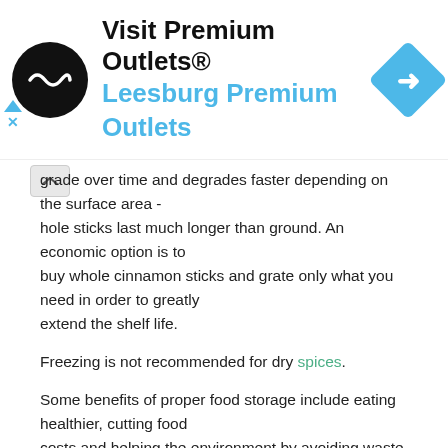[Figure (infographic): Ad banner: Visit Premium Outlets® / Leesburg Premium Outlets with circular logo and blue navigation icon]
grade over time and degrades faster depending on the surface area - hole sticks last much longer than ground. An economic option is to buy whole cinnamon sticks and grate only what you need in order to greatly extend the shelf life.
Freezing is not recommended for dry spices.
Some benefits of proper food storage include eating healthier, cutting food costs and helping the environment by avoiding waste.
Interesting facts about Cinnamon:
It actually comes from the bark of a tree!
How long is Cinnamon good for when prepared in a dish?
How long does cinnamon last? That depends. How long does milk last? In general, foods lasts only as long as the quickest expiring ingredient in the